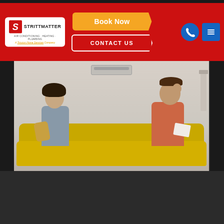[Figure (screenshot): Strittmatter HVAC company website header with red background, company logo on left, 'Book Now' and 'CONTACT US' buttons in center, phone and menu icons on right]
[Figure (photo): A man and woman sitting on a yellow couch looking stressed, holding papers and a yellow bag, with an air conditioning unit visible on the wall behind them]